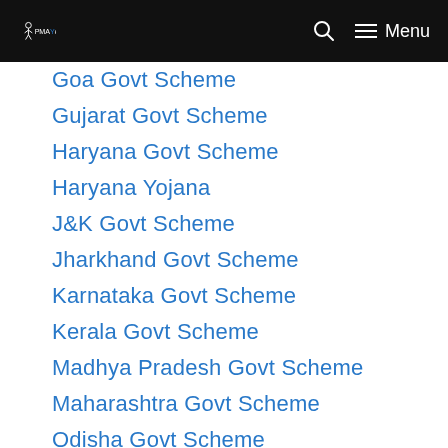PMAYojana — Menu
Goa Govt Scheme
Gujarat Govt Scheme
Haryana Govt Scheme
Haryana Yojana
J&K Govt Scheme
Jharkhand Govt Scheme
Karnataka Govt Scheme
Kerala Govt Scheme
Madhya Pradesh Govt Scheme
Maharashtra Govt Scheme
Odisha Govt Scheme
PM Modi Yojana